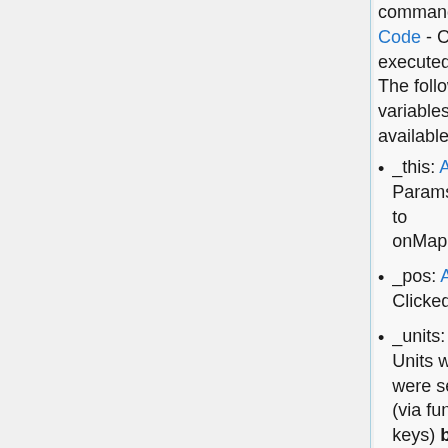command: String or Code - Code executed on click. The following variables are available:
_this: Anything - Params passed to onMapSingleClick
_pos: Array - Clicked position
_units: Array - Units which were selected (via function keys) before opening the map (may be non-functional